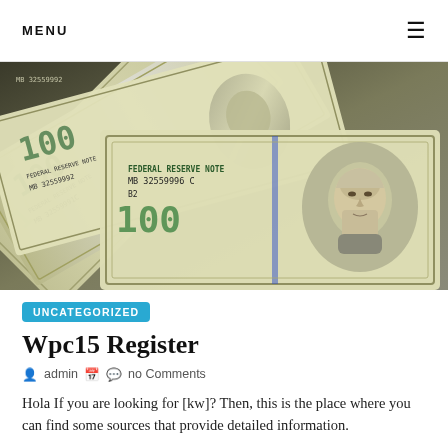MENU ≡
[Figure (photo): Fan of US $100 bills (Federal Reserve Notes) spread out, showing Benjamin Franklin portrait and serial numbers MB 32559992, MB 32559991C, MB 32559996 C, B2]
UNCATEGORIZED
Wpc15 Register
admin  no Comments
Hola If you are looking for [kw]? Then, this is the place where you can find some sources that provide detailed information.